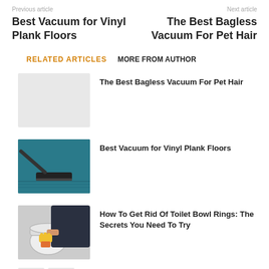Previous article
Next article
Best Vacuum for Vinyl Plank Floors
The Best Bagless Vacuum For Pet Hair
RELATED ARTICLES
MORE FROM AUTHOR
[Figure (photo): Blank/placeholder thumbnail for The Best Bagless Vacuum For Pet Hair]
The Best Bagless Vacuum For Pet Hair
[Figure (photo): Vacuum cleaner head on teal carpet floor]
Best Vacuum for Vinyl Plank Floors
[Figure (photo): Person in yellow gloves cleaning toilet bowl]
How To Get Rid Of Toilet Bowl Rings: The Secrets You Need To Try